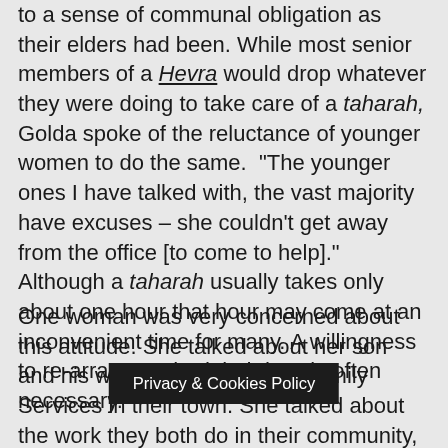to a sense of communal obligation as their elders had been. While most senior members of a Hevra would drop whatever they were doing to take care of a taharah, Golda spoke of the reluctance of younger women to do the same.  "The younger ones I have talked with, the vast majority have excuses – she couldn't get away from the office [to come to help]." Although a taharah usually takes only about one hour that hour may come at an inconvenient time for many. A willingness to re-arrange scheduled days is often necessary.
One woman was very concerned about this attitude. She talked about her son and his work with the Jewish Family Services in their town. She talked about the work they both do in their community, and described how her son was grateful to her for setting such an example. Shula's pride in her son was palpable over the telephone, but so were her concerns. "Parents need to tell their children what they need to do in [raising their] children and raising is done with...
Privacy & Cookies Policy